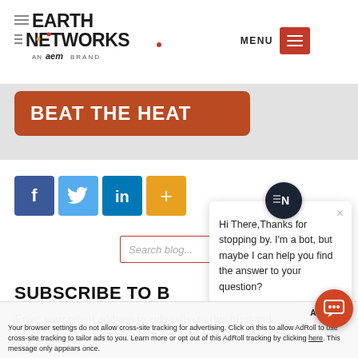[Figure (logo): Earth Networks logo - AN aem BRAND]
MENU
[Figure (infographic): BEAT THE HEAT red banner button]
[Figure (infographic): Social share buttons: Facebook, Twitter, LinkedIn, Plus]
Search blog...
SUBSCRIBE TO B
Enter your email address to subscribe to this blog and
receive notifications of new posts by email
[Figure (screenshot): Chat popup: Hi There,Thanks for stopping by. I'm a bot, but maybe I can help you find the answer to your question?]
Accept x
Your browser settings do not allow cross-site tracking for advertising. Click on this to allow AdRoll to use cross-site tracking to tailor ads to you. Learn more or opt out of this AdRoll tracking by clicking here. This message only appears once.